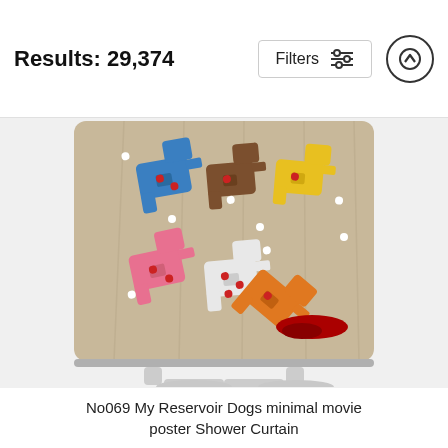Results: 29,374
[Figure (screenshot): A shower curtain product displaying a minimalist Reservoir Dogs movie poster art with six colorful handguns (blue, brown, yellow, pink, white, orange) arranged on a tan/beige background, with red bullet hole dots and a red blood puddle under the orange gun. The curtain is displayed on a white curtain rod stand.]
No069 My Reservoir Dogs minimal movie poster Shower Curtain